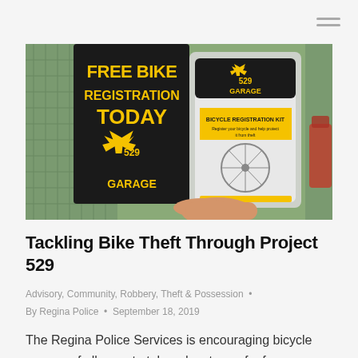[Figure (photo): A hand holding a 529 Garage bicycle registration kit package in front of a black banner reading 'FREE BIKE REGISTRATION TODAY' with the 529 Garage logo in yellow.]
Tackling Bike Theft Through Project 529
Advisory, Community, Robbery, Theft & Possession  •
By Regina Police  •  September 18, 2019
The Regina Police Services is encouraging bicycle owners of all ages to take advantage of a free